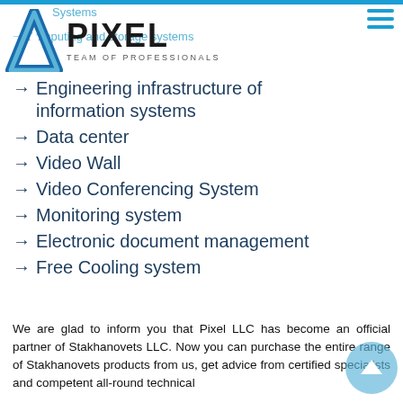Systems | Computing and storage systems
[Figure (logo): Pixel LLC logo — blue triangle swoosh mark with PIXEL text in bold and TEAM OF PROFESSIONALS subtitle]
Engineering infrastructure of information systems
Data center
Video Wall
Video Conferencing System
Monitoring system
Electronic document management
Free Cooling system
We are glad to inform you that Pixel LLC has become an official partner of Stakhanovets LLC. Now you can purchase the entire range of Stakhanovets products from us, get advice from certified specialists and competent all-round technical